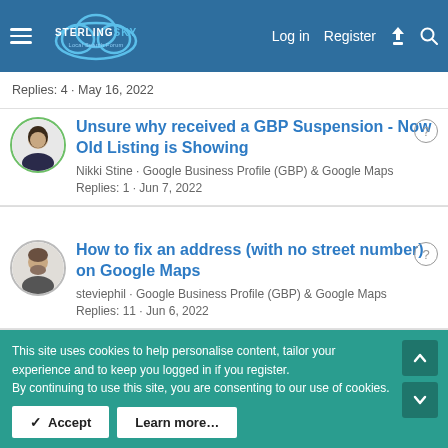Sterling Sky Local Search Forum — Log in · Register
Replies: 4 · May 16, 2022
Unsure why received a GBP Suspension - Now Old Listing is Showing
Nikki Stine · Google Business Profile (GBP) & Google Maps
Replies: 1 · Jun 7, 2022
How to fix an address (with no street number) on Google Maps
steviephil · Google Business Profile (GBP) & Google Maps
Replies: 11 · Jun 6, 2022
This site uses cookies to help personalise content, tailor your experience and to keep you logged in if you register.
By continuing to use this site, you are consenting to our use of cookies.